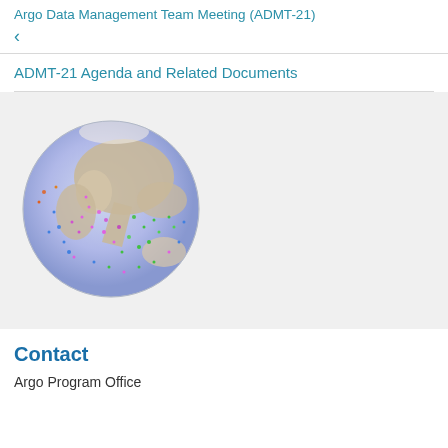Argo Data Management Team Meeting (ADMT-21)
<
ADMT-21 Agenda and Related Documents
[Figure (illustration): A globe showing ocean float positions from the Argo program, with colorful data points (pink, green, blue, orange) scattered across ocean regions. The globe is rendered with a lavender-blue ocean and tan/beige landmasses, oriented to show Asia, the Indian Ocean, and parts of Africa and Australia.]
Contact
Argo Program Office